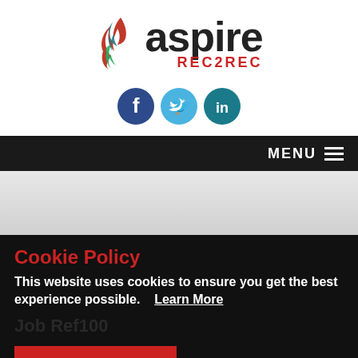[Figure (logo): Aspire REC2REC logo with flame icon in red, teal, and green colors, and bold 'aspire' text with 'REC2REC' subtitle in red]
[Figure (infographic): Three social media icons: Facebook (dark blue), Twitter (light blue), LinkedIn (teal blue)]
MENU ≡
Cookie Policy
This website uses cookies to ensure you get the best experience possible. Learn More
YES, I AGREE